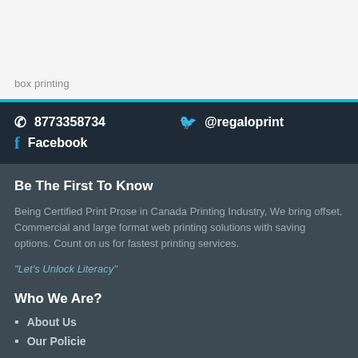box printing
8773358734   @regaloprint   Facebook
Be The First To Know
Being Certified Print Prose in Canada Printing Industry, We bring offset, Commercial and large format web printing solutions with saving options. Count on us for fastest printing services.
"Let's Unlock Literacy"
Who We Are?
About Us
Our Policies